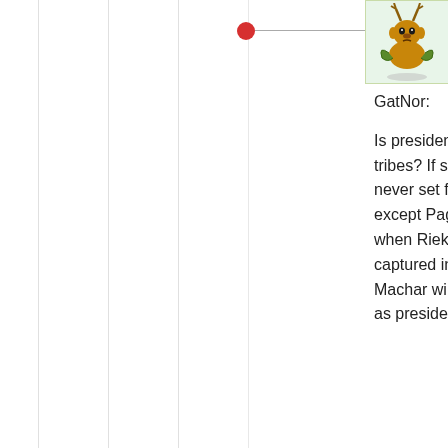[Figure (illustration): Cartoon avatar of a character, used as user profile picture for Bol Akuol]
Bol Akuol
April 30, 2015 at 6:59 am
GatNor:

Is president Kiir’s tribe part of your 64 tribes? If so, then Riek Machar will never set foot in South Sudan soil except Pagak. Where was 64 tribes when Riek Machar’s headquarter was captured in Nasir in April, 2014? Riek Machar will never rule South Sudan as president whether by